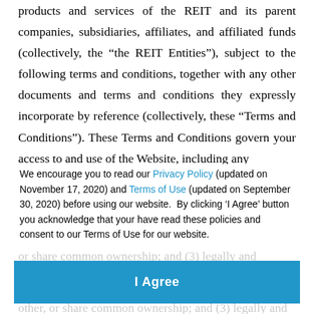products and services of the REIT and its parent companies, subsidiaries, affiliates, and affiliated funds (collectively, the “the REIT Entities”), subject to the following terms and conditions, together with any other documents and terms and conditions they expressly incorporate by reference (collectively, these “Terms and Conditions”). These Terms and Conditions govern your access to and use of the Website, including any
Content offered on or through the Website. This Website is offered by the REIT as a convenience to: and financially separate entities that make up the REIT Entities which may be either parent companies or other, or share common ownership; and (3) legally and
We encourage you to read our Privacy Policy (updated on November 17, 2020) and Terms of Use (updated on September 30, 2020) before using our website.  By clicking ‘I Agree’ button you acknowledge that your have read these policies and consent to our Terms of Use for our website.
I Agree